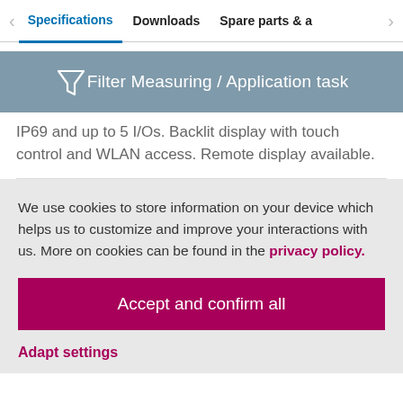< Specifications   Downloads   Spare parts & a >
[Figure (infographic): Filter icon with text 'Filter Measuring / Application task' on a blue-grey background banner]
IP69 and up to 5 I/Os. Backlit display with touch control and WLAN access. Remote display available.
We use cookies to store information on your device which helps us to customize and improve your interactions with us. More on cookies can be found in the privacy policy.
Accept and confirm all
Adapt settings